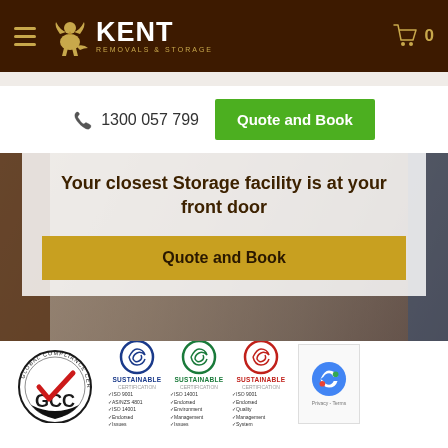[Figure (logo): Kent Removals & Storage logo with golden griffin and company name on dark brown background, hamburger menu icon on left, shopping cart with 0 on right]
1300 057 799
Quote and Book
Your closest Storage facility is at your front door
Quote and Book
[Figure (logo): GCC Global Compliance Certification circular logo with checkmark]
[Figure (infographic): Three Sustainable certification badges (blue, green, red) with ISO certification details listed beneath each, plus a reCAPTCHA widget with Privacy - Terms text]